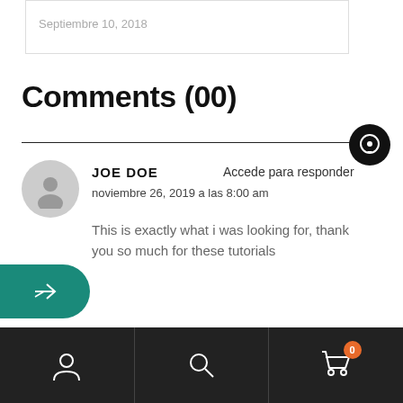Septiembre 10, 2018
Comments (00)
JOE DOE
Accede para responder
noviembre 26, 2019 a las 8:00 am
This is exactly what i was looking for, thank you so much for these tutorials
[user icon] [search icon] [cart icon with badge 0]